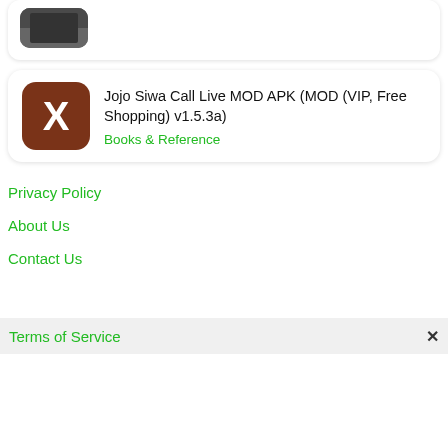[Figure (screenshot): Partial app listing card at top — shows cropped app icon photo]
[Figure (screenshot): App listing card with brown X icon for Jojo Siwa Call Live MOD APK]
Jojo Siwa Call Live MOD APK (MOD (VIP, Free Shopping) v1.5.3a)
Books & Reference
Privacy Policy
About Us
Contact Us
Terms of Service